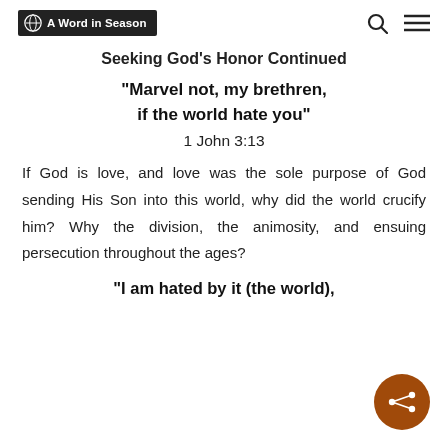A Word in Season
Seeking God's Honor Continued
“Marvel not, my brethren, if the world hate you”
1 John 3:13
If God is love, and love was the sole purpose of God sending His Son into this world, why did the world crucify him? Why the division, the animosity, and ensuing persecution throughout the ages?
“I am hated by it (the world),